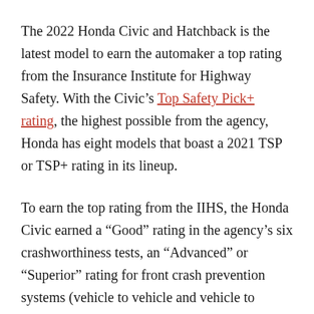The 2022 Honda Civic and Hatchback is the latest model to earn the automaker a top rating from the Insurance Institute for Highway Safety. With the Civic’s Top Safety Pick+ rating, the highest possible from the agency, Honda has eight models that boast a 2021 TSP or TSP+ rating in its lineup.
To earn the top rating from the IIHS, the Honda Civic earned a “Good” rating in the agency’s six crashworthiness tests, an “Advanced” or “Superior” rating for front crash prevention systems (vehicle to vehicle and vehicle to pedestrian), and an “Acceptable” or “Good” rating for its headlights. The 2022 Civic earned “Superior” ratings for its front crash prevention tech in both categories, and its headlights earned a...